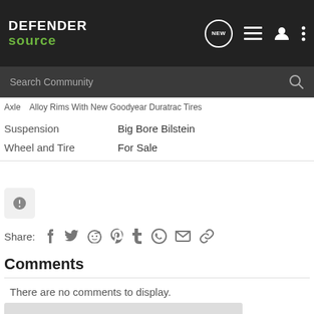DEFENDER source
Search Community
Axle  Alloy Rims With New Goodyear Duratrac Tires
| Category | Tag |
| --- | --- |
| Suspension | Big Bore Bilstein |
| Wheel and Tire | For Sale |
Share:
Comments
There are no comments to display.